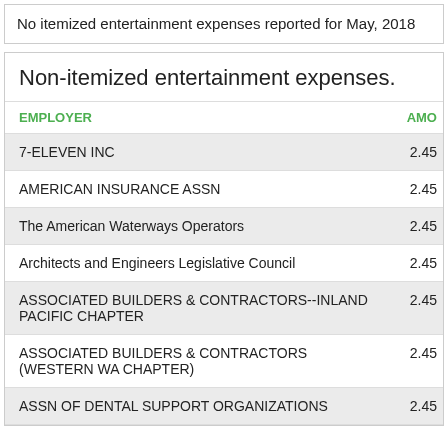No itemized entertainment expenses reported for May, 2018
Non-itemized entertainment expenses.
| EMPLOYER | AMOUNT |
| --- | --- |
| 7-ELEVEN INC | 2.45 |
| AMERICAN INSURANCE ASSN | 2.45 |
| The American Waterways Operators | 2.45 |
| Architects and Engineers Legislative Council | 2.45 |
| ASSOCIATED BUILDERS & CONTRACTORS--INLAND PACIFIC CHAPTER | 2.45 |
| ASSOCIATED BUILDERS & CONTRACTORS (WESTERN WA CHAPTER) | 2.45 |
| ASSN OF DENTAL SUPPORT ORGANIZATIONS | 2.45 |